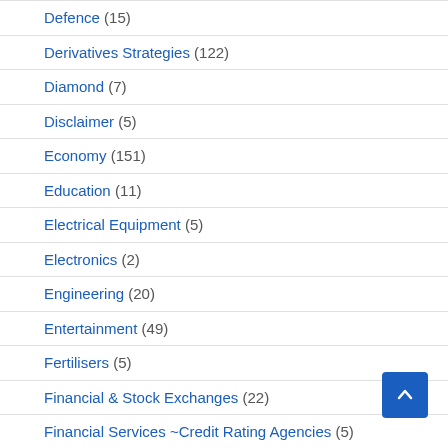Defence (15)
Derivatives Strategies (122)
Diamond (7)
Disclaimer (5)
Economy (151)
Education (11)
Electrical Equipment (5)
Electronics (2)
Engineering (20)
Entertainment (49)
Fertilisers (5)
Financial & Stock Exchanges (22)
Financial Services ~Credit Rating Agencies (5)